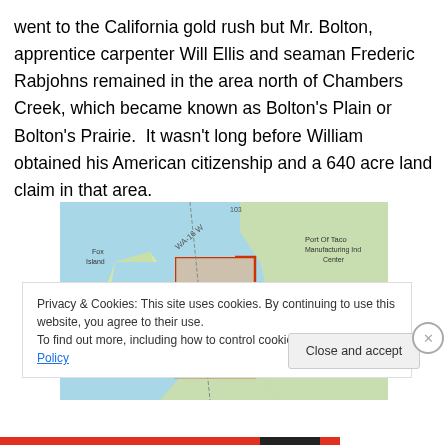went to the California gold rush but Mr. Bolton, apprentice carpenter Will Ellis and seaman Frederic Rabjohns remained in the area north of Chambers Creek, which became known as Bolton's Plain or Bolton's Prairie.  It wasn't long before William obtained his American citizenship and a 640 acre land claim in that area.
[Figure (map): Map showing the area around Tacoma, Washington including Fox Island, University Place, Fircrest, and Port of Tacoma Manufacturing/Industrial Center, with orange-outlined region indicating the land claim area.]
Privacy & Cookies: This site uses cookies. By continuing to use this website, you agree to their use.
To find out more, including how to control cookies, see here: Cookie Policy